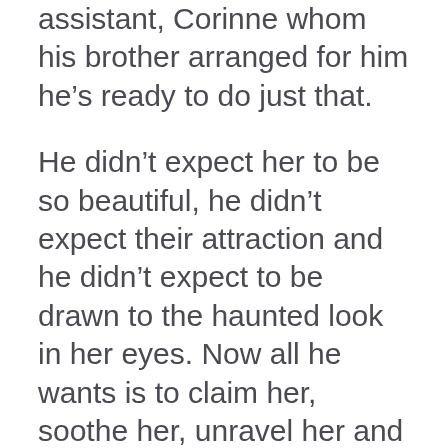assistant, Corinne whom his brother arranged for him he's ready to do just that.
He didn't expect her to be so beautiful, he didn't expect their attraction and he didn't expect to be drawn to the haunted look in her eyes. Now all he wants is to claim her, soothe her, unravel her and then put her back together.
He has a plan that benefits the both of them. The only problem